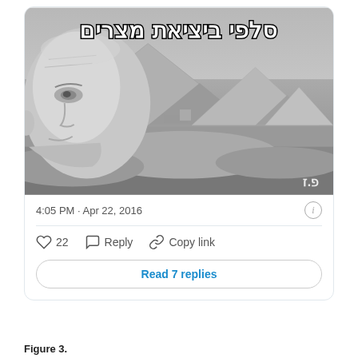[Figure (illustration): Black and white meme image showing the Egyptian pyramids with a man's face (an elderly bald man) in the foreground on the left side, with Hebrew text at the top reading 'סלפי ביציאת מצרים' (selfie at the Exodus from Egypt). A watermark 'פ.ז' appears at the bottom right.]
4:05 PM · Apr 22, 2016
22  Reply  Copy link
Read 7 replies
Figure 3.